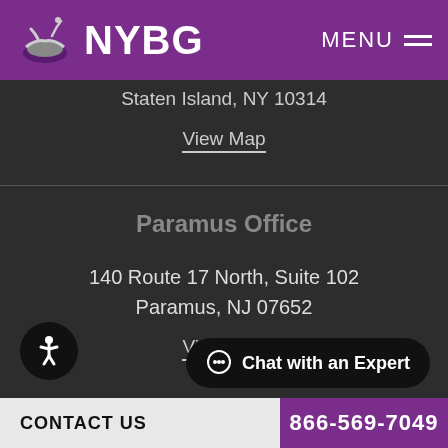NYBG | MENU
Staten Island, NY 10314
View Map
Paramus Office
140 Route 17 North, Suite 102
Paramus, NJ 07652
View Map
Chat with an Expert
CONTACT US   866-569-7049